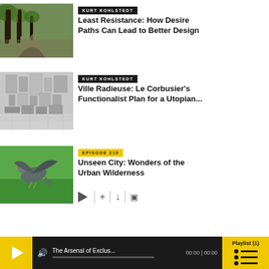[Figure (photo): Park path with trees and grass]
KURT KOHLSTEDT
Least Resistance: How Desire Paths Can Lead to Better Design
[Figure (photo): Aerial architectural model of a city (Ville Radieuse)]
KURT KOHLSTEDT
Ville Radieuse: Le Corbusier's Functionalist Plan for a Utopian...
[Figure (photo): Pigeon in flight over green background]
EPISODE 210
Unseen City: Wonders of the Urban Wilderness
The Arsenal of Exclus...  00:00 | 00:00  Playlist (1)